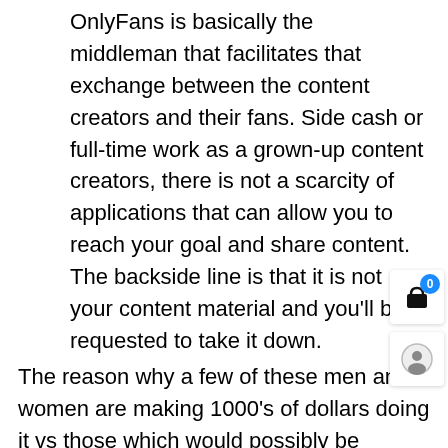OnlyFans is basically the middleman that facilitates that exchange between the content creators and their fans. Side cash or full-time work as a grown-up content creators, there is not a scarcity of applications that can allow you to reach your goal and share content. The backside line is that it is not your content material and you'll be requested to take it down.
The reason why a few of these men and women are making 1000's of dollars doing it vs those which would possibly be fortunate to earn sufficient for a pizza supply every week is that they've a loyal viewers. You'll need to delete the chats manually out of your cloud service account. Your nude might easily be traced again to your own home using something known as EXIF data, which is embedded in each picture file and might embody location. Apps which would possibly be fully encrypted will prevent hackers from procuring your nudes, however they endure...